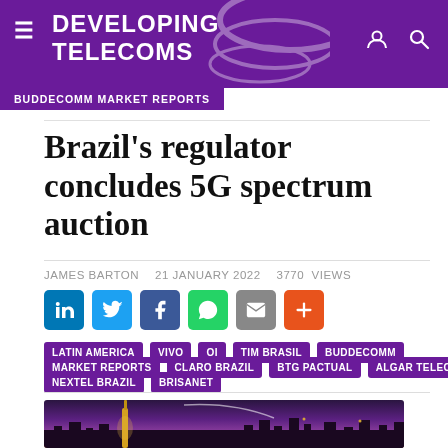DEVELOPING TELECOMS
BUDDECOMM MARKET REPORTS
Brazil's regulator concludes 5G spectrum auction
JAMES BARTON   21 JANUARY 2022   3770 views
Social share buttons: LinkedIn, Twitter, Facebook, WhatsApp, Email, More
LATIN AMERICA
VIVO
OI
TIM BRASIL
BUDDECOMM
MARKET REPORTS
CLARO BRAZIL
BTG PACTUAL
ALGAR TELECOM
NEXTEL BRAZIL
BRISANET
[Figure (photo): City skyline at dusk/twilight with a lit tower and purple-pink sky with a contrail arc]